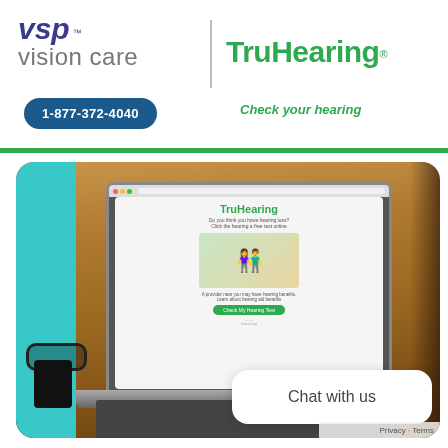[Figure (logo): VSP Vision Care logo — blue italic 'vsp' with registered trademark, grey 'vision care' text below]
[Figure (logo): TruHearing logo in green bold font with registered trademark superscript]
1-877-372-4040
Check your hearing
[Figure (screenshot): Laptop on a wooden desk displaying TruHearing website with a hearing check page. Glasses and phone visible in foreground. Teal decorative background.]
Chat with us
Privacy · Terms